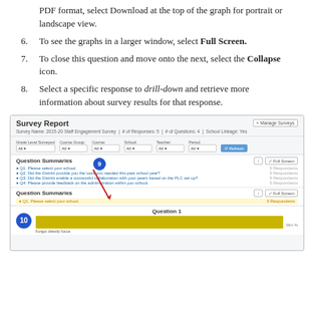PDF format, select Download at the top of the graph for portrait or landscape view.
To see the graphs in a larger window, select Full Screen.
To close this question and move onto the next, select the Collapse icon.
Select a specific response to drill-down and retrieve more information about survey results for that response.
[Figure (screenshot): Screenshot of Survey Report interface showing question summaries, filters, callout badges numbered 9 and 10, and a yellow horizontal bar for Question 1 response.]